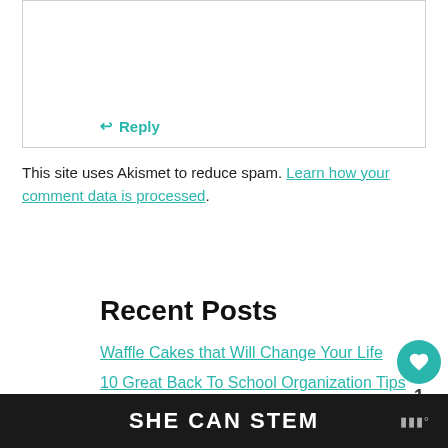↩ Reply
This site uses Akismet to reduce spam. Learn how your comment data is processed.
Recent Posts
Waffle Cakes that Will Change Your Life
10 Great Back To School Organization Tips
Homemade Strawberry Pop Tarts Recipe
8 School Lunch Ideas
SHE CAN STEM